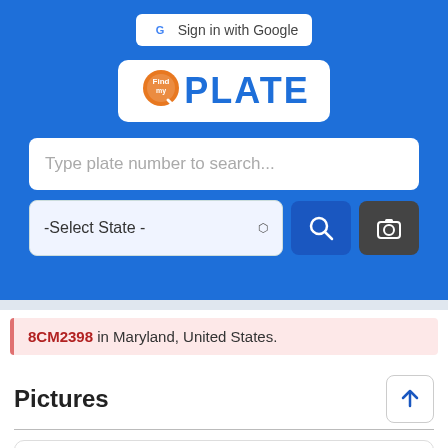[Figure (screenshot): Sign in with Google button with Google G logo]
[Figure (logo): FindMyPlate logo with orange circle magnifier and PLATE text in blue]
Type plate number to search...
-Select State -
8CM2398 in Maryland, United States.
Pictures
[Figure (illustration): Line drawing of an SUV/station wagon vehicle from the side view]